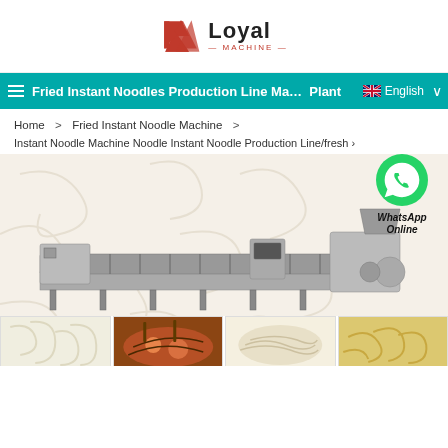[Figure (logo): Loyal Machine logo with red triangle/arrow icon and company name]
Fried Instant Noodles Production Line Ma… English Plant
Home > Fried Instant Noodle Machine > Instant Noodle Machine Noodle Instant Noodle Production Line/fresh ›
[Figure (photo): Fried instant noodle production line machine — a long industrial conveyor/processing line with rollers and fryer sections, shown on a noodle texture background]
[Figure (photo): WhatsApp Online contact badge with green phone icon]
[Figure (photo): Thumbnail row of 4 food product images at the bottom of the page]